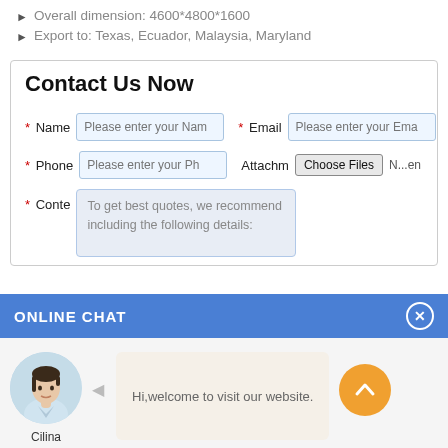Overall dimension: 4600*4800*1600
Export to: Texas, Ecuador, Malaysia, Maryland
Contact Us Now
* Name  [Please enter your Nam]   * Email  [Please enter your Ema]
* Phone  [Please enter your Ph]   Attachment  [Choose Files]  N...en
* Content  To get best quotes, we recommend including the following details:
ONLINE CHAT
Hi,welcome to visit our website.
Cilina